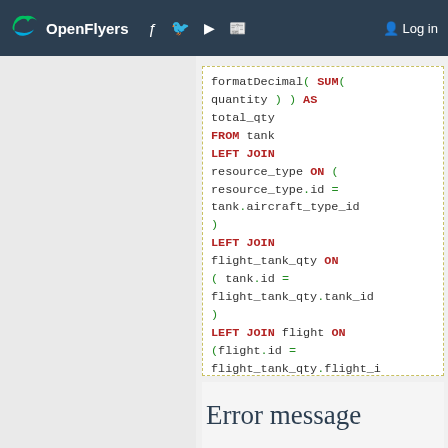OpenFlyers  Log in
formatDecimal( SUM( quantity ) ) AS total_qty FROM tank LEFT JOIN resource_type ON ( resource_type.id = tank.aircraft_type_id ) LEFT JOIN flight_tank_qty ON ( tank.id = flight_tank_qty.tank_id ) LEFT JOIN flight ON (flight.id = flight_tank_qty.flight_i WHERE YEAR(flight.start_date) = $year GROUP BY aircraft_type_id, tank_type_id
Error message